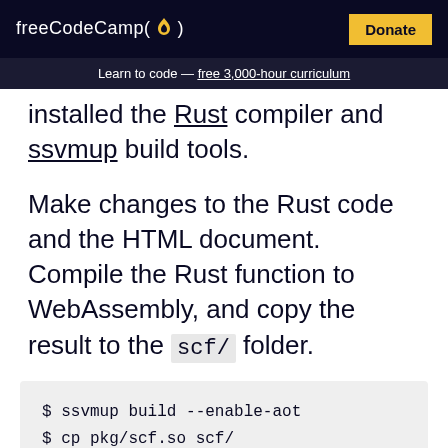freeCodeCamp(🔥)  Donate
Learn to code — free 3,000-hour curriculum
installed the Rust compiler and ssvmup build tools.
Make changes to the Rust code and the HTML document. Compile the Rust function to WebAssembly, and copy the result to the scf/ folder.
$ ssvmup build --enable-aot
$ cp pkg/scf.so scf/